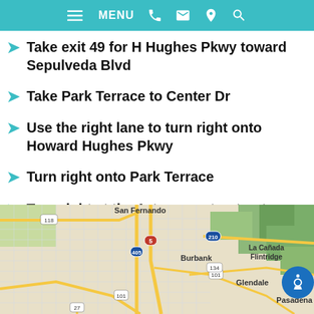MENU
Take exit 49 for H Hughes Pkwy toward Sepulveda Blvd
Take Park Terrace to Center Dr
Use the right lane to turn right onto Howard Hughes Pkwy
Turn right onto Park Terrace
Turn right at the 1st cross street onto Center Dr
[Figure (map): Google Maps view showing the Los Angeles metropolitan area including San Fernando, Burbank, La Cañada Flintridge, Glendale, and Pasadena. Highway routes including 118, 405, 5, 210, 101, 134, and 27 are visible.]